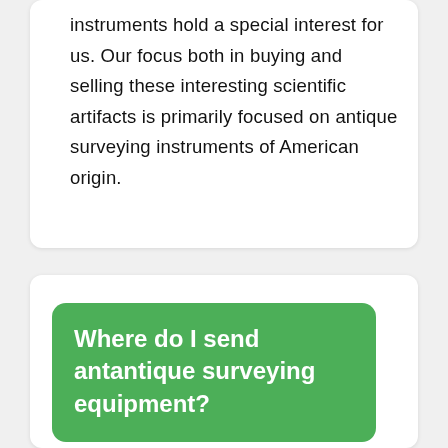instruments hold a special interest for us. Our focus both in buying and selling these interesting scientific artifacts is primarily focused on antique surveying instruments of American origin.
Where do I send antantique surveying equipment?